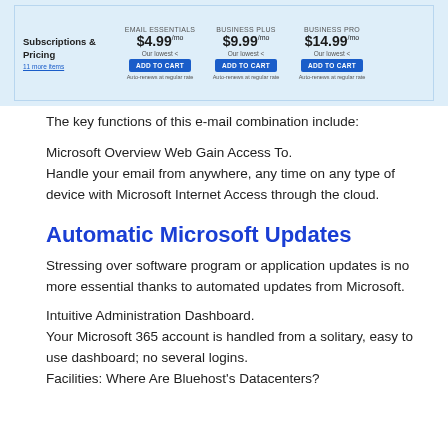[Figure (screenshot): Screenshot of email subscription pricing table showing Email Essentials at $4.99/mo, Business Plus at $9.99/mo, and Business Pro at $14.99/mo with blue Add to Cart buttons and auto-renew text.]
The key functions of this e-mail combination include:
Microsoft Overview Web Gain Access To.
Handle your email from anywhere, any time on any type of device with Microsoft Internet Access through the cloud.
Automatic Microsoft Updates
Stressing over software program or application updates is no more essential thanks to automated updates from Microsoft.
Intuitive Administration Dashboard.
Your Microsoft 365 account is handled from a solitary, easy to use dashboard; no several logins.
Facilities: Where Are Bluehost's Datacenters?